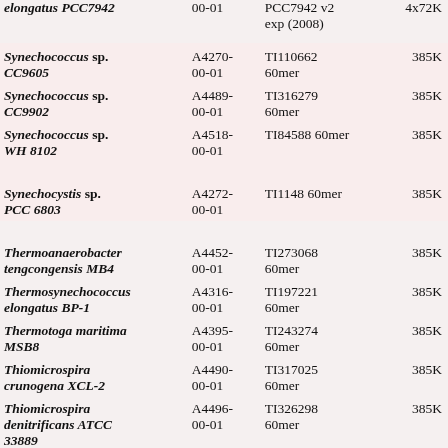| Organism | Code | Chip ID | Size |
| --- | --- | --- | --- |
| Synechococcus elongatus PCC7942 | A4270-00-01 | PCC7942 v2 exp (2008) | 4x72K |
| Synechococcus sp. CC9605 | A4270-00-01 | TI110662 60mer | 385K |
| Synechococcus sp. CC9902 | A4489-00-01 | TI316279 60mer | 385K |
| Synechococcus sp. WH 8102 | A4518-00-01 | TI84588 60mer | 385K |
| Synechocystis sp. PCC 6803 | A4272-00-01 | TI1148 60mer | 385K |
| Thermoanaerobacter tengcongensis MB4 | A4452-00-01 | TI273068 60mer | 385K |
| Thermosynechococcus elongatus BP-1 | A4316-00-01 | TI197221 60mer | 385K |
| Thermotoga maritima MSB8 | A4395-00-01 | TI243274 60mer | 385K |
| Thiomicrospira crunogena XCL-2 | A4490-00-01 | TI317025 60mer | 385K |
| Thiomicrospira denitrificans ATCC 33889 | A4496-00-01 | TI326298 60mer | 385K |